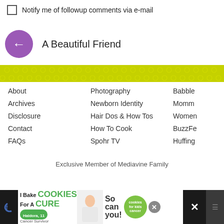Notify me of followup comments via e-mail
A Beautiful Friend
[Figure (other): Yellow-green decorative dot pattern bar dividing page sections]
About
Archives
Disclosure
Contact
FAQs
Photography
Newborn Identity
Hair Dos & How Tos
How To Cook
Spohr TV
Babble
Momm
Women
BuzzFe
Huffing
Exclusive Member of Mediavine Family
[Figure (photo): Advertisement banner: I Bake COOKIES For A CURE, Haldora, 11 Cancer Survivor, So can you!, cookies for kids cancer logo, close button, social media icons]